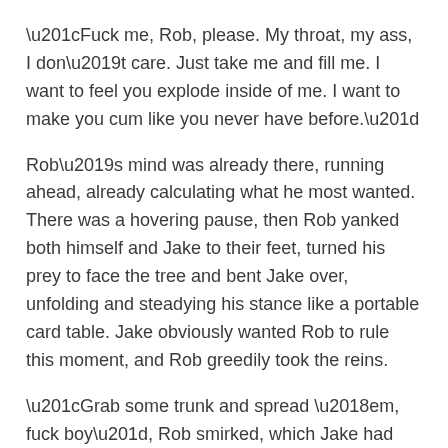“Fuck me, Rob, please. My throat, my ass, I don’t care. Just take me and fill me. I want to feel you explode inside of me. I want to make you cum like you never have before.”
Rob’s mind was already there, running ahead, already calculating what he most wanted. There was a hovering pause, then Rob yanked both himself and Jake to their feet, turned his prey to face the tree and bent Jake over, unfolding and steadying his stance like a portable card table. Jake obviously wanted Rob to rule this moment, and Rob greedily took the reins.
“Grab some trunk and spread ‘em, fuck boy”, Rob smirked, which Jake had nearly done before the end of Rob’s sentence.
There was this lush, willing, pretty asshole staring at Rob through the lilting breeze, dilating and clamping shut in a